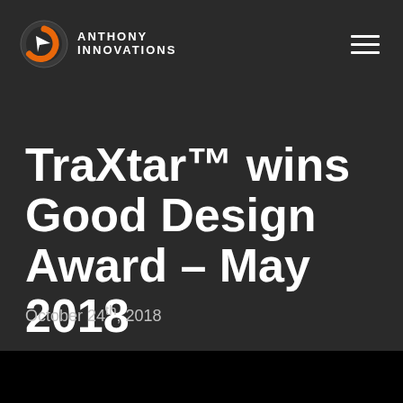ANTHONY INNOVATIONS
TraXtar™ wins Good Design Award – May 2018
October 24th, 2018